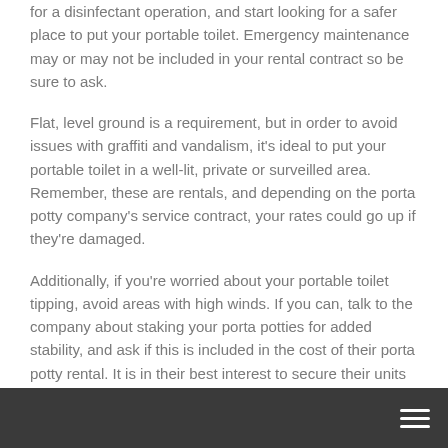for a disinfectant operation, and start looking for a safer place to put your portable toilet. Emergency maintenance may or may not be included in your rental contract so be sure to ask.
Flat, level ground is a requirement, but in order to avoid issues with graffiti and vandalism, it's ideal to put your portable toilet in a well-lit, private or surveilled area. Remember, these are rentals, and depending on the porta potty company's service contract, your rates could go up if they're damaged.
Additionally, if you're worried about your portable toilet tipping, avoid areas with high winds. If you can, talk to the company about staking your porta potties for added stability, and ask if this is included in the cost of their porta potty rental. It is in their best interest to secure their units as well, so don't be